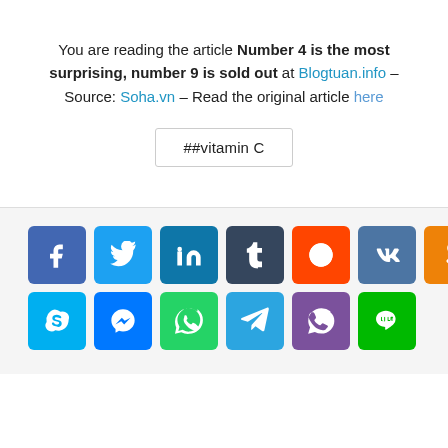You are reading the article Number 4 is the most surprising, number 9 is sold out at Blogtuan.info – Source: Soha.vn – Read the original article here
##vitamin C
[Figure (infographic): Row of social share buttons: Facebook, Twitter, LinkedIn, Tumblr, Reddit, VK, Odnoklassniki, Pocket; second row: Skype, Messenger, WhatsApp, Telegram, Viber, Line]